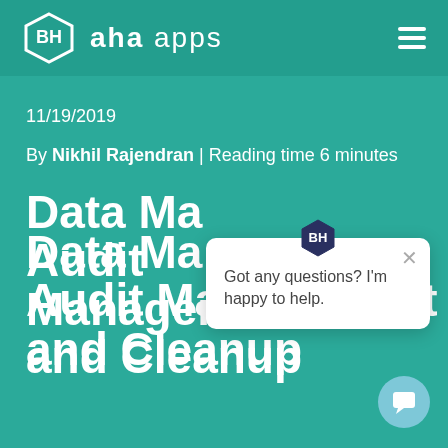aha apps
11/19/2019
By Nikhil Rajendran | Reading time 6 minutes
Data Management Audit Management and Cleanup
[Figure (screenshot): Chat popup widget with logo icon, close button, and text 'Got any questions? I’m happy to help.']